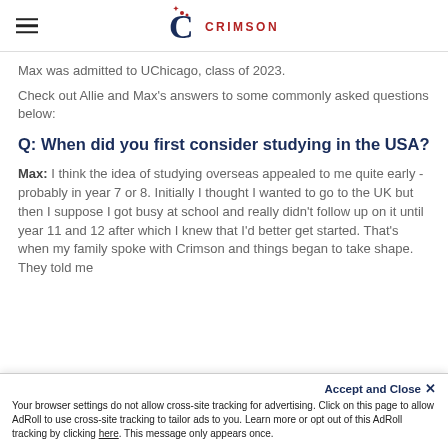Crimson logo and navigation
Max was admitted to UChicago, class of 2023.
Check out Allie and Max's answers to some commonly asked questions below:
Q: When did you first consider studying in the USA?
Max: I think the idea of studying overseas appealed to me quite early - probably in year 7 or 8. Initially I thought I wanted to go to the UK but then I suppose I got busy at school and really didn't follow up on it until year 11 and 12 after which I knew that I'd better get started. That's when my family spoke with Crimson and things began to take shape. They told me
Accept and Close ✕ Your browser settings do not allow cross-site tracking for advertising. Click on this page to allow AdRoll to use cross-site tracking to tailor ads to you. Learn more or opt out of this AdRoll tracking by clicking here. This message only appears once.